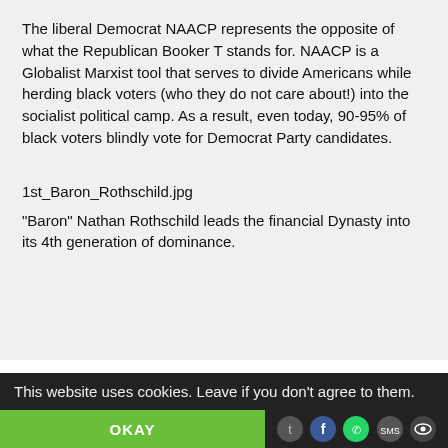The liberal Democrat NAACP represents the opposite of what the Republican Booker T stands for. NAACP is a Globalist Marxist tool that serves to divide Americans while herding black voters (who they do not care about!) into the socialist political camp. As a result, even today, 90-95% of black voters blindly vote for Democrat Party candidates.
1st_Baron_Rothschild.jpg
"Baron" Nathan Rothschild leads the financial Dynasty into its 4th generation of dominance.
This website uses cookies. Leave if you don't agree to them.
OKAY